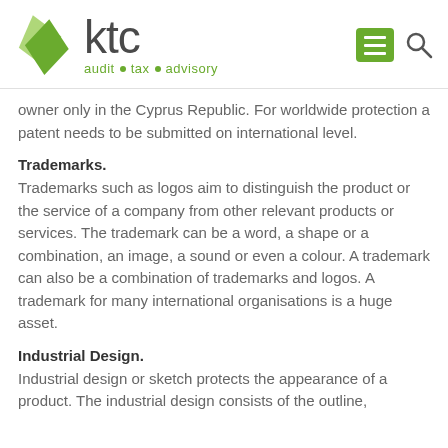KTC – audit • tax • advisory
owner only in the Cyprus Republic. For worldwide protection a patent needs to be submitted on international level.
Trademarks.
Trademarks such as logos aim to distinguish the product or the service of a company from other relevant products or services. The trademark can be a word, a shape or a combination, an image, a sound or even a colour. A trademark can also be a combination of trademarks and logos. A trademark for many international organisations is a huge asset.
Industrial Design.
Industrial design or sketch protects the appearance of a product. The industrial design consists of the outline,